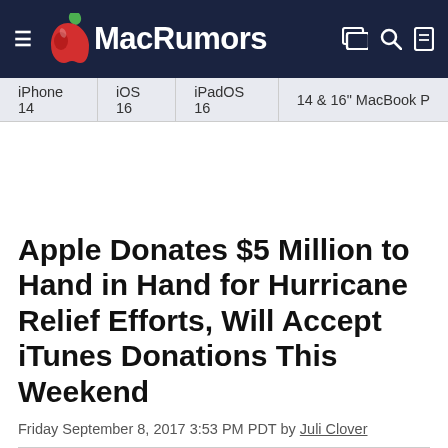MacRumors
iPhone 14 | iOS 16 | iPadOS 16 | 14 & 16" MacBook P
Apple Donates $5 Million to Hand in Hand for Hurricane Relief Efforts, Will Accept iTunes Donations This Weekend
Friday September 8, 2017 3:53 PM PDT by Juli Clover
Apple today donated $5 million to the Hand in Hand: A Benefit for